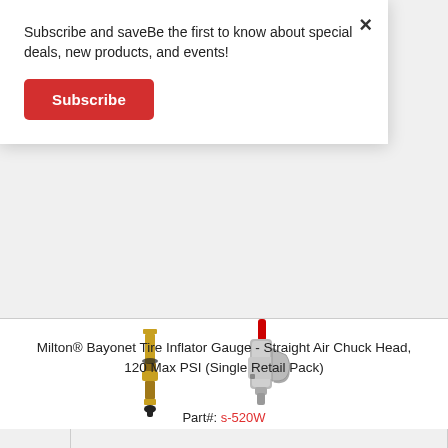Subscribe and saveBe the first to know about special deals, new products, and events!
Subscribe
[Figure (photo): Product photo showing a tire valve stem and a bayonet tire inflator gauge with straight air chuck head against white background]
Milton® Bayonet Tire Inflator Gauge - Straight Air Chuck Head, 120 Max PSI (Single Retail Pack)
Part#: s-520W